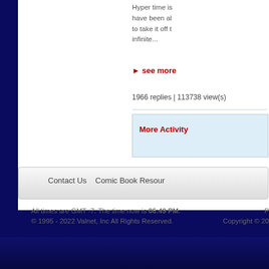Hyper time is... have been al... to take it off t... infinite...
▶ see more
1966 replies | 113738 view(s)
More Activity
Contact Us  Comic Book Resour
All times are GMT -7. The time now is 06:49 PM.
© 1995 - 2022 Valnet, Inc All Rights Reserved.
P
Copyright © 20